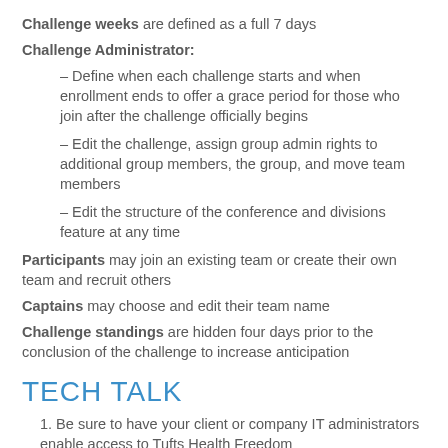Challenge weeks are defined as a full 7 days
Challenge Administrator:
– Define when each challenge starts and when enrollment ends to offer a grace period for those who join after the challenge officially begins
– Edit the challenge, assign group admin rights to additional group members, the group, and move team members
– Edit the structure of the conference and divisions feature at any time
Participants may join an existing team or create their own team and recruit others
Captains may choose and edit their team name
Challenge standings are hidden four days prior to the conclusion of the challenge to increase anticipation
TECH TALK
1. Be sure to have your client or company IT administrators enable access to Tufts Health Freedom